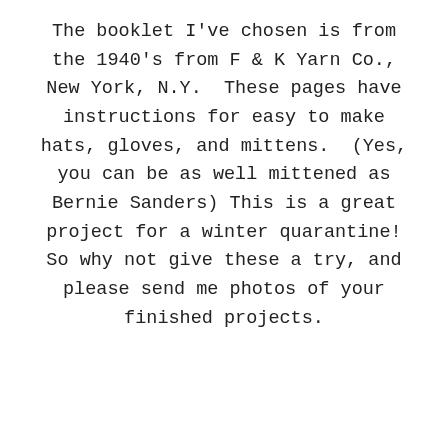The booklet I've chosen is from the 1940's from F & K Yarn Co., New York, N.Y.  These pages have instructions for easy to make hats, gloves, and mittens.  (Yes, you can be as well mittened as Bernie Sanders) This is a great project for a winter quarantine! So why not give these a try, and please send me photos of your finished projects.